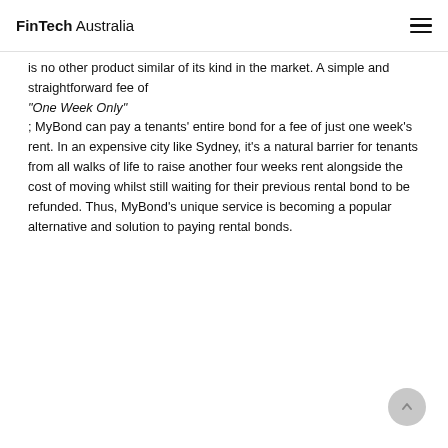FinTech Australia
is no other product similar of its kind in the market. A simple and straightforward fee of "One Week Only" ; MyBond can pay a tenants' entire bond for a fee of just one week's rent. In an expensive city like Sydney, it's a natural barrier for tenants from all walks of life to raise another four weeks rent alongside the cost of moving whilst still waiting for their previous rental bond to be refunded. Thus, MyBond's unique service is becoming a popular alternative and solution to paying rental bonds.